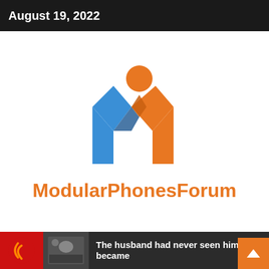August 19, 2022
[Figure (logo): ModularPhonesForum logo: a stylized letter M in blue and orange with an orange circle dot above, followed by the text 'ModularPhonesForum' in orange]
The husband had never seen him: – It became